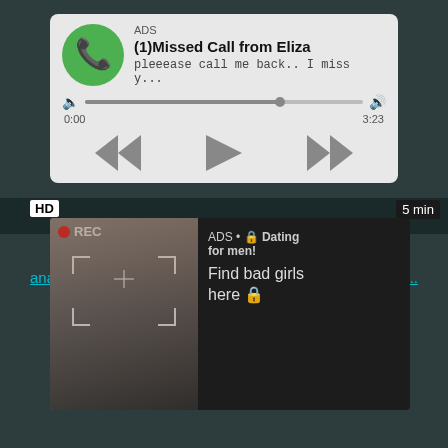[Figure (screenshot): Audio player card showing a missed call notification. Green phone icon on left. 'ADS' label at top, title '(1)Missed Call from Eliza', subtitle 'pleeease call me back.. I miss y...', a progress bar with volume controls, time stamps 0:00 and 3:23, and playback controls (rewind, play, fast-forward).]
HD
5 min
anal,
uth,...
[Figure (screenshot): Ad banner with dark background. Left side: photo of a woman taking a selfie in a mirror, with REC indicator and camera-frame overlay. Right side: text 'ADS • 🔒 Dating for men! Find bad girls here 🔒']